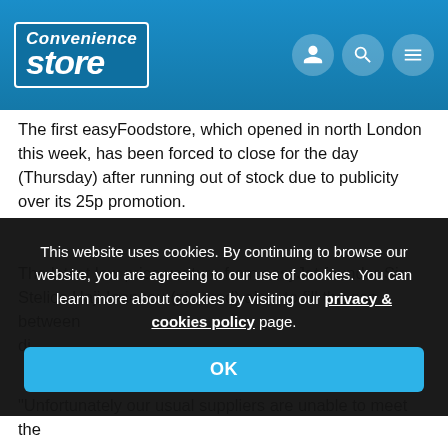[Figure (logo): Convenience Store website logo and navigation header with blue background and three icon circles (user, search, menu)]
The first easyFoodstore, which opened in north London this week, has been forced to close for the day (Thursday) after running out of stock due to publicity over its 25p promotion.
The latest low price venture from easyJet founder Sir Stelios Haji-Ioannou (pictured) aims to fill the gap between di[screened by cookie overlay]
This website uses cookies. By continuing to browse our website, you are agreeing to our use of cookies. You can learn more about cookies by visiting our privacy & cookies policy page.
"Unfortunately our usual suppliers are unable to meet the